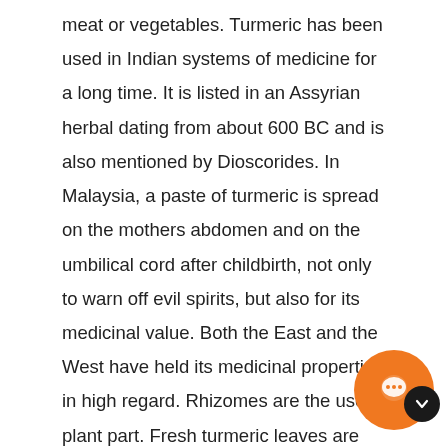meat or vegetables. Turmeric has been used in Indian systems of medicine for a long time. It is listed in an Assyrian herbal dating from about 600 BC and is also mentioned by Dioscorides. In Malaysia, a paste of turmeric is spread on the mothers abdomen and on the umbilical cord after childbirth, not only to warn off evil spirits, but also for its medicinal value. Both the East and the West have held its medicinal properties in high regard. Rhizomes are the used plant part. Fresh turmeric leaves are used in some regions of Indonesia as flavouring. In fresh state, the rootstock has a aromatic and spicy fragrance, which by drying gives way to a more medicinal aroma. On storing, the smell rather quickly changes to earthy and unpleasant. Similarly, the colour of ground turmeric tends to fade if the spice is stored too long. It is called Indian saffron because of its orange yellow colour. In some languages, the names of turmeric just mean root; English turmeric derives from the (now obsolete) French terre